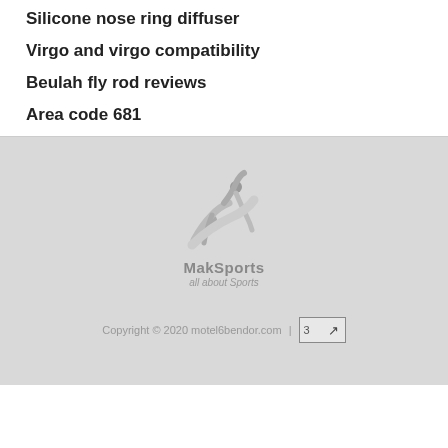Silicone nose ring diffuser
Virgo and virgo compatibility
Beulah fly rod reviews
Area code 681
[Figure (logo): MakSports logo — stylized figures with 'MakSports all about Sports' text, rendered in gray tones]
Copyright © 2020 motel6bendor.com |